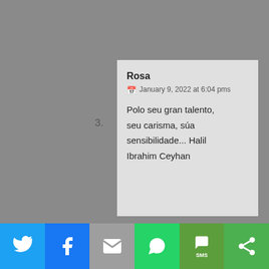3. Rosa — January 9, 2022 at 6:04 pms — Polo seu gran talento, seu carisma, súa sensibilidade... Halil Ibrahim Ceyhan
We use cookies on our website to give you the most relevant experience by remembering your preferences and repeat visits. By clicking "Accept All", you consent to the use of ALL the cookies. However, you may visit "Cookie Settings" to provide a controlled consent.